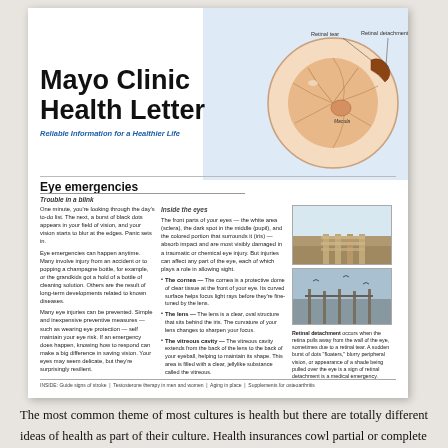[Figure (illustration): Mayo Clinic Health Letter cover page showing an anatomical diagram of the eye with labels for retinal tear, retinal detachment, and macula, plus two outdoor landscape photos]
Mayo Clinic Health Letter
Reliable Information for a Healthier Life
Eye emergencies
Trouble in a blink
One minute, you're looking through the day's to-do list. The next, a burst of black dots appears in your field of vision, and your vision starts to blur at the edges. Panic sets in. Eye emergencies can happen anytime. Many involve injury from an accident or to popping a champagne bottle, for example, or the grandkids got a hold of a bottle of cleaning solution. Others are the result of long-term developments related to known diseases. Many eye injuries can be prevented. Simple and inexpensive preventive measures — such as wearing eye protection — will maintain your eye risk. If an emergency does happen, knowing how to respond can make a big difference in saving vision. Your eyes may seem delicate, but they're surprisingly resilient.
Inside the eyes
The front parts of your eyes — the white area (sclera), the dark spot in the middle (pupil), and the colored portion that surrounds it (iris) — absorb impact and are most visibly damaged in a traumatic or chemical eye injury. But injuries can affect any part of the eye, each of which plays a role in allowing sight.
The cornea — The cornea is a protective dome of clear tissue at the front of your eye. Its curved surface helps focus light rays before they're fine-tuned by the lens.
The lens — The lens is a clear, oval structure that sits behind the iris. The curvature of your lens changes to sharpen your focus.
The vitreous cavity — The vitreous cavity extends from the back of the lens to the back of your eyeball, helping to maintain its shape. This area is filled with a clear, jellylike substance called the vitreous.
Retinal detachment occurs when the retina pulls away from the wall of the eye, sometimes due to a retinal tear. A sudden burst of dots "floaters," blurry peripheral vision, or appearance of a shade being pulled over the eye is a sign of retinal detachment is a medical emergency.
INSIDE: Guide signs of stroke | Testosterone therapy in men and women | Aging in place | Supplements for osteoarthritis
The most common theme of most cultures is health but there are totally different ideas of health as part of their culture. Health insurances cowl partial or complete